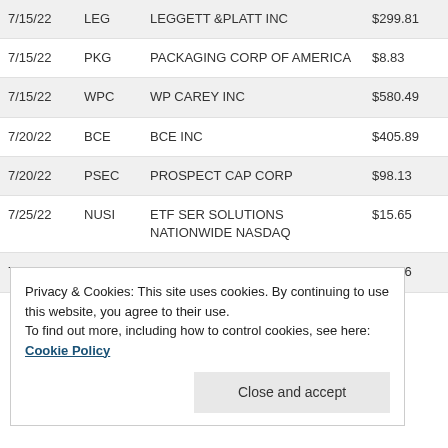| Date | Ticker | Name | Price |
| --- | --- | --- | --- |
| 7/15/22 | LEG | LEGGETT &PLATT INC | $299.81 |
| 7/15/22 | PKG | PACKAGING CORP OF AMERICA | $8.83 |
| 7/15/22 | WPC | WP CAREY INC | $580.49 |
| 7/20/22 | BCE | BCE INC | $405.89 |
| 7/20/22 | PSEC | PROSPECT CAP CORP | $98.13 |
| 7/25/22 | NUSI | ETF SER SOLUTIONS NATIONWIDE NASDAQ | $15.65 |
| 7/26/22 | XRMI | GLOBAL X FDS S&P 500 RISK | $28.76 |
Privacy & Cookies: This site uses cookies. By continuing to use this website, you agree to their use.
To find out more, including how to control cookies, see here: Cookie Policy